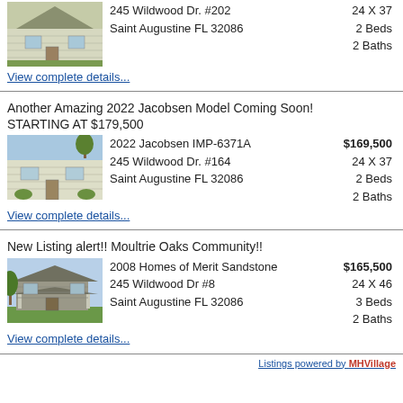[Figure (photo): Exterior photo of a manufactured home, light siding, front porch area]
245 Wildwood Dr. #202
Saint Augustine FL 32086
24 X 37
2 Beds
2 Baths
View complete details...
Another Amazing 2022 Jacobsen Model Coming Soon!
STARTING AT $179,500
[Figure (photo): Exterior photo of a manufactured home, tan/beige siding, landscaping]
2022 Jacobsen IMP-6371A
245 Wildwood Dr. #164
Saint Augustine FL 32086
$169,500
24 X 37
2 Beds
2 Baths
View complete details...
New Listing alert!! Moultrie Oaks Community!!
[Figure (photo): Exterior photo of a manufactured home with covered front porch, darker exterior]
2008 Homes of Merit Sandstone
245 Wildwood Dr #8
Saint Augustine FL 32086
$165,500
24 X 46
3 Beds
2 Baths
View complete details...
Listings powered by MHVillage